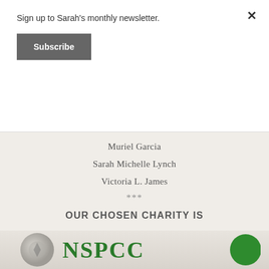Sign up to Sarah's monthly newsletter.
Subscribe
Muriel Garcia
Sarah Michelle Lynch
Victoria L. James
***
OUR CHOSEN CHARITY IS
[Figure (logo): NSPCC charity logo with circular emblem on left and green circle on right]